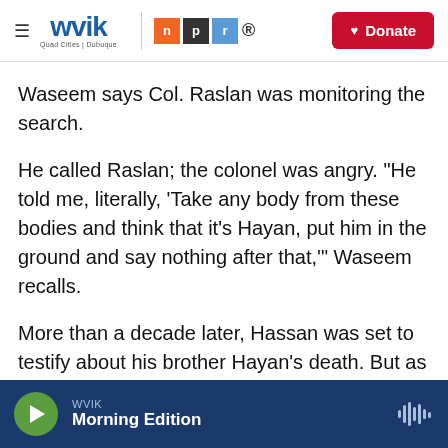WVIK | Quad Cities | Dubuque — NPR — Donate
Waseem says Col. Raslan was monitoring the search.
He called Raslan; the colonel was angry. "He told me, literally, 'Take any body from these bodies and think that it's Hayan, put him in the ground and say nothing after that,'" Waseem recalls.
More than a decade later, Hassan was set to testify about his brother Hayan's death. But as Syrian officials were searching for Waseem, he knew he had to get him to safety.
WVIK Morning Edition